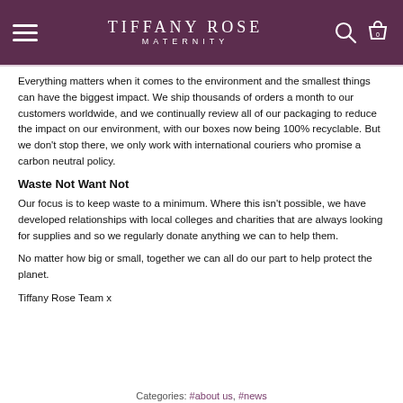TIFFANY ROSE MATERNITY
Everything matters when it comes to the environment and the smallest things can have the biggest impact. We ship thousands of orders a month to our customers worldwide, and we continually review all of our packaging to reduce the impact on our environment, with our boxes now being 100% recyclable. But we don't stop there, we only work with international couriers who promise a carbon neutral policy.
Waste Not Want Not
Our focus is to keep waste to a minimum. Where this isn't possible, we have developed relationships with local colleges and charities that are always looking for supplies and so we regularly donate anything we can to help them.
No matter how big or small, together we can all do our part to help protect the planet.
Tiffany Rose Team x
Categories: #about us, #news